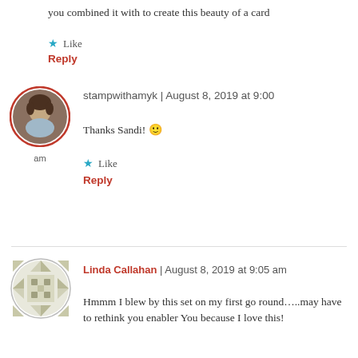you combined it with to create this beauty of a card
Like
Reply
[Figure (photo): Circular avatar photo of a person with short brown hair, bordered in red]
stampwithamyk | August 8, 2019 at 9:00
Thanks Sandi! 🙂
Like
Reply
[Figure (illustration): Circular avatar with a geometric green/grey quilt-like pattern]
Linda Callahan | August 8, 2019 at 9:05 am
Hmmm I blew by this set on my first go round…..may have to rethink you enabler You because I love this!